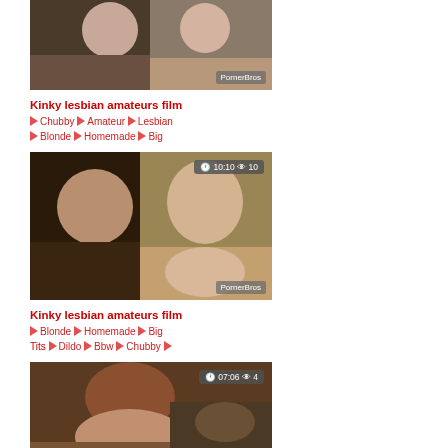[Figure (photo): Video thumbnail showing two women, with PornerBros watermark]
Kinky lesbian amateurs film
🏷 Chubby 🏷 Amateur 🏷 Lesbian 🏷 Blonde 🏷 Homemade 🏷 Big
[Figure (photo): Video thumbnail showing two women, duration 10:10, views 10, with PornerBros watermark]
Kinky lesbian amateurs film
🏷 Blonde 🏷 Homemade 🏷 Big Tits 🏷 Dildo 🏷 Bbw 🏷 Chubby 🏷
[Figure (photo): Video thumbnail showing a woman, duration 07:06, views 4]